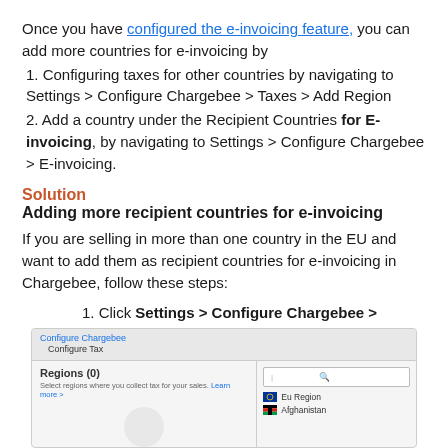Once you have configured the e-invoicing feature, you can add more countries for e-invoicing by
1. Configuring taxes for other countries by navigating to Settings > Configure Chargebee > Taxes > Add Region
2. Add a country under the Recipient Countries for E-invoicing, by navigating to Settings > Configure Chargebee > E-invoicing.
Solution
Adding more recipient countries for e-invoicing
If you are selling in more than one country in the EU and want to add them as recipient countries for e-invoicing in Chargebee, follow these steps:
1. Click Settings > Configure Chargebee > Taxes.
[Figure (screenshot): Screenshot of Configure Chargebee Configure Tax screen showing Regions (0) panel on the left and a dropdown on the right with a search box, EU Region option, and Afghanistan option.]